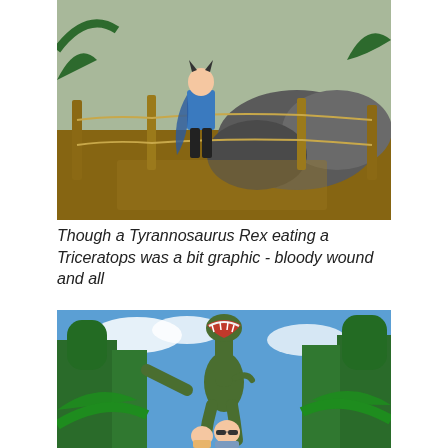[Figure (photo): A child wearing a blue Batman costume stands in front of large tortoise statues or real tortoises in an enclosed exhibit with wooden posts, rope barriers, wood chip ground cover, and tropical plants in the background.]
Though a Tyrannosaurus Rex eating a Triceratops was a bit graphic - bloody wound and all
[Figure (photo): Two people (a child and an adult with sunglasses) pose in front of a large T-Rex dinosaur statue or animatronic with its mouth open, surrounded by lush tropical green trees and foliage under a blue sky with white clouds.]